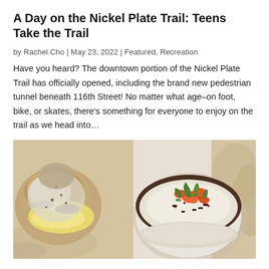A Day on the Nickel Plate Trail: Teens Take the Trail
by Rachel Cho | May 23, 2022 | Featured, Recreation Have you heard? The downtown portion of the Nickel Plate Trail has officially opened, including the brand new pedestrian tunnel beneath 116th Street! No matter what age–on foot, bike, or skates, there's something for everyone to enjoy on the trail as we head into...
[Figure (photo): Close-up overhead photo of breakfast food: biscuit with gravy and scrambled egg on the left, and a bowl of grits or porridge topped with diced tomatoes, green onions, and bacon bits on the right, on a decorative plate.]